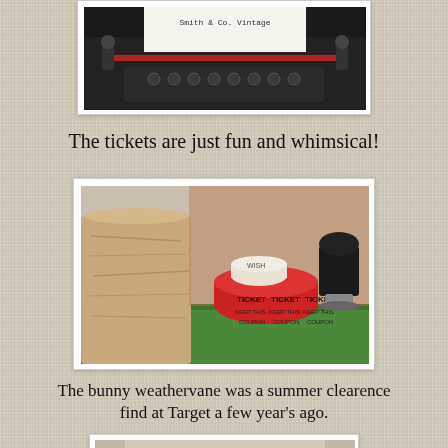[Figure (photo): Close-up of a vintage typewriter with a sheet of paper reading 'Smith & Co. Vintage', partially cropped at top of page]
The tickets are just fun and whimsical!
[Figure (photo): Photo of a roll of red raffle tickets labeled 'TICKET / KEEP THIS COUPON' and a white 'WISH' ticket roll on top, sitting on a green wooden surface next to a birch log candle and a black rubber stamp]
The bunny weathervane was a summer clearence find at Target a few year's ago.
[Figure (photo): Partial photo showing what appears to be a bunny weathervane figure, cropped at bottom of page]